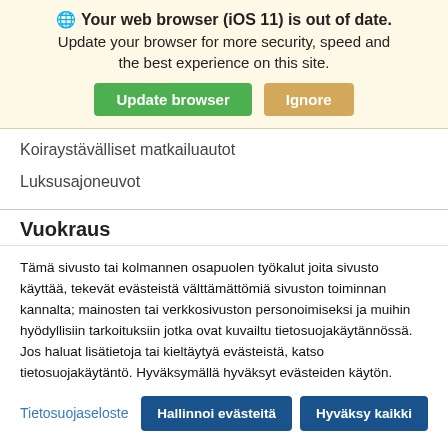🌐 Your web browser (iOS 11) is out of date. Update your browser for more security, speed and the best experience on this site.
[Figure (screenshot): Two buttons: green 'Update browser' and tan 'Ignore']
Koiraystävälliset matkailuautot
Luksusajoneuvot
Vuokraus
Tämä sivusto tai kolmannen osapuolen työkalut joita sivusto käyttää, tekevät evästeistä välttämättömiä sivuston toiminnan kannalta; mainosten tai verkkosivuston personoimiseksi ja muihin hyödyllisiin tarkoituksiin jotka ovat kuvailtu tietosuojakäytännössä. Jos haluat lisätietoja tai kieltäytyä evästeistä, katso tietosuojakäytäntö. Hyväksymällä hyväksyt evästeiden käytön.
Tietosuojaseloste
Hallinnoi evästeitä | Hyväksy kaikki